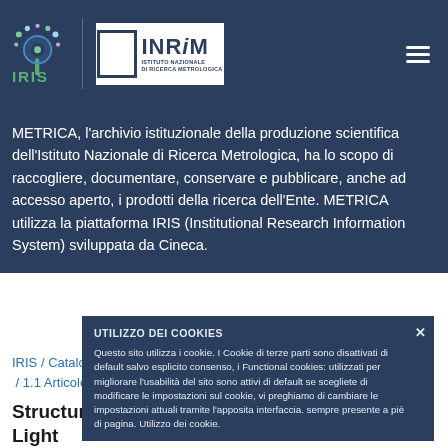[Figure (logo): IRIS logo (eye icon with colorful dots and green IRIS text) and INRiM (Istituto Nazionale di Ricerca Metrologica) logo on dark blue navigation bar]
METRICA, l'archivio istituzionale della produzione scientifica dell'Istituto Nazionale di Ricerca Metrologica, ha lo scopo di raccogliere, documentare, conservare e pubblicare, anche ad accesso aperto, i prodotti della ricerca dell'Ente. METRICA utilizza la piattaforma IRIS (Institutional Research Information System) sviluppata da Cineca.
IRIS / Catalogo Ricerca / 1 Contributo su Rivista / 1.1 Articolo in rivista
UTILIZZO DEI COOKIES
Questo sito utilizza i cookie. I Cookie di terze parti sono disattivati di default salvo esplicito consenso, i Functional cookies: utilizzati per migliorare l'usabilità del sito sono attivi di default se scegliete di modificare le impostazioni sul cookie, vi preghiamo di cambiare le impostazioni attuali tramite l'apposita interfaccia. sempre presente a piè di pagina. Utilizzo dei cookie.
Structured Optical Materials Controlled by Light
Sara Nocentini; Daniele Martella; Camilla Parmeggiani; Diederik S.